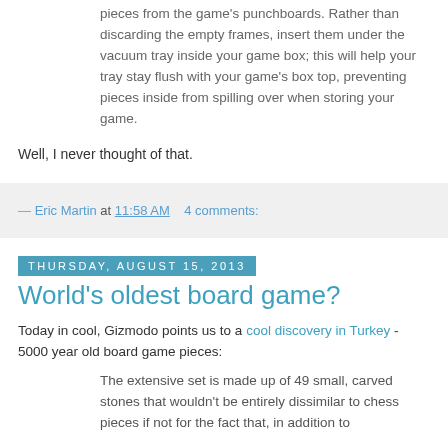pieces from the game’s punchboards. Rather than discarding the empty frames, insert them under the vacuum tray inside your game box; this will help your tray stay flush with your game’s box top, preventing pieces inside from spilling over when storing your game.
Well, I never thought of that.
— Eric Martin at 11:58 AM   4 comments:
Thursday, August 15, 2013
World's oldest board game?
Today in cool, Gizmodo points us to a cool discovery in Turkey - 5000 year old board game pieces:
The extensive set is made up of 49 small, carved stones that wouldn't be entirely dissimilar to chess pieces if not for the fact that, in addition to